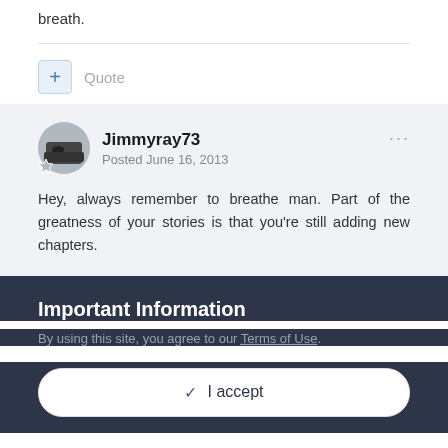breath.
Quote
Jimmyray73
Posted June 16, 2013
Hey, always remember to breathe man. Part of the greatness of your stories is that you're still adding new chapters.
Important Information
By using this site, you agree to our Terms of Use.
✓ I accept